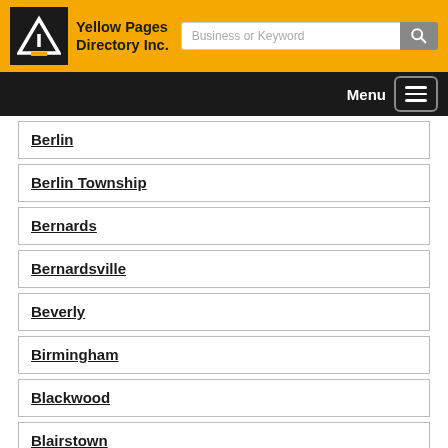Yellow Pages Directory Inc.
Berlin
Berlin Township
Bernards
Bernardsville
Beverly
Birmingham
Blackwood
Blairstown